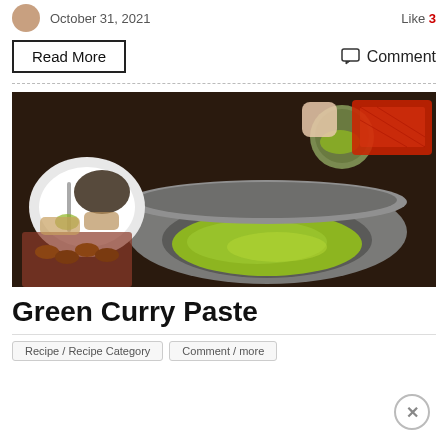October 31, 2021   Like 3
Read More
Comment
[Figure (photo): A stone mortar and pestle with bright green curry paste being ground. Surrounding items include a plate with dark spices, various ingredients, and a red basket in the background on a dark wooden table.]
Green Curry Paste
tags/buttons at bottom (partially visible)